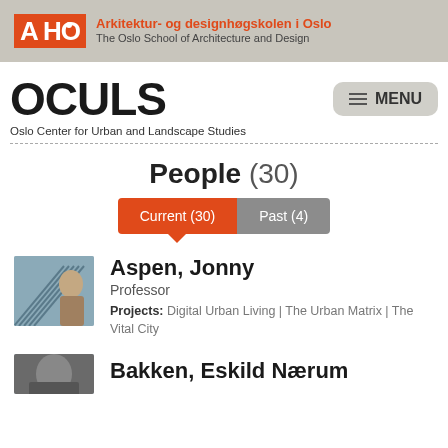Arkitektur- og designhøgskolen i Oslo | The Oslo School of Architecture and Design
OCULS
Oslo Center for Urban and Landscape Studies
People (30)
Current (30) | Past (4)
Aspen, Jonny
Professor
Projects: Digital Urban Living | The Urban Matrix | The Vital City
Bakken, Eskild Nærum